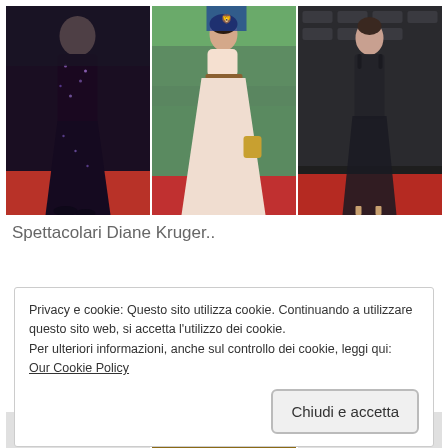[Figure (photo): Three photos of women in evening gowns on a red carpet at what appears to be the Venice Film Festival. Left: woman in dark floral gown. Center: woman in light beige/cream long dress. Right: woman in black sheer gown.]
Spettacolari Diane Kruger..
Privacy e cookie: Questo sito utilizza cookie. Continuando a utilizzare questo sito web, si accetta l'utilizzo dei cookie.
Per ulteriori informazioni, anche sul controllo dei cookie, leggi qui:
Our Cookie Policy
Chiudi e accetta
[Figure (photo): Partial bottom strip showing three cropped images below the cookie banner.]